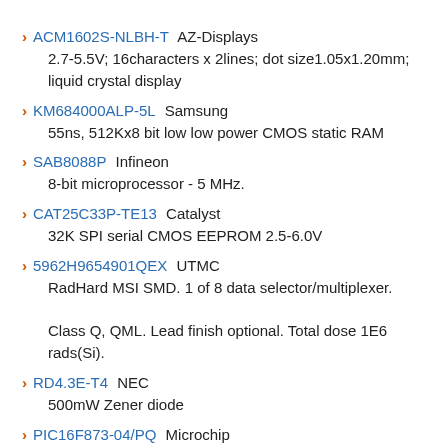ACM1602S-NLBH-T AZ-Displays
2.7-5.5V; 16characters x 2lines; dot size1.05x1.20mm; liquid crystal display
KM684000ALP-5L Samsung
55ns, 512Kx8 bit low low power CMOS static RAM
SAB8088P Infineon
8-bit microprocessor - 5 MHz.
CAT25C33P-TE13 Catalyst
32K SPI serial CMOS EEPROM 2.5-6.0V
5962H9654901QEX UTMC
RadHard MSI SMD. 1 of 8 data selector/multiplexer. Class Q, QML. Lead finish optional. Total dose 1E6 rads(Si).
RD4.3E-T4 NEC
500mW Zener diode
PIC16F873-04/PQ Microchip
8-bit CMOS FLASH microcontroller